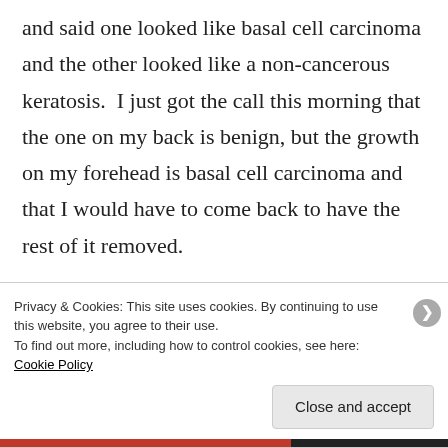and said one looked like basal cell carcinoma and the other looked like a non-cancerous keratosis. I just got the call this morning that the one on my back is benign, but the growth on my forehead is basal cell carcinoma and that I would have to come back to have the rest of it removed.
Privacy & Cookies: This site uses cookies. By continuing to use this website, you agree to their use.
To find out more, including how to control cookies, see here: Cookie Policy
Close and accept